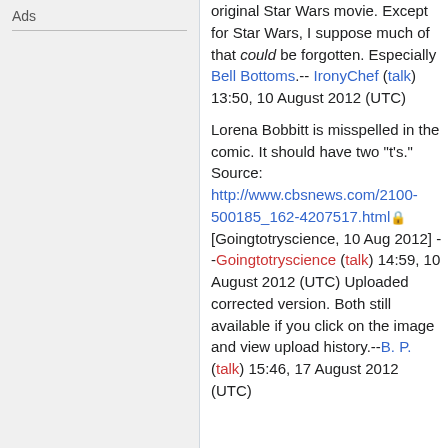Ads
original Star Wars movie. Except for Star Wars, I suppose much of that could be forgotten. Especially Bell Bottoms.-- IronyChef (talk) 13:50, 10 August 2012 (UTC)
Lorena Bobbitt is misspelled in the comic. It should have two "t's." Source: http://www.cbsnews.com/2100-500185_162-4207517.html [Goingtotryscience, 10 Aug 2012] --Goingtotryscience (talk) 14:59, 10 August 2012 (UTC) Uploaded corrected version. Both still available if you click on the image and view upload history.--B. P. (talk) 15:46, 17 August 2012 (UTC)